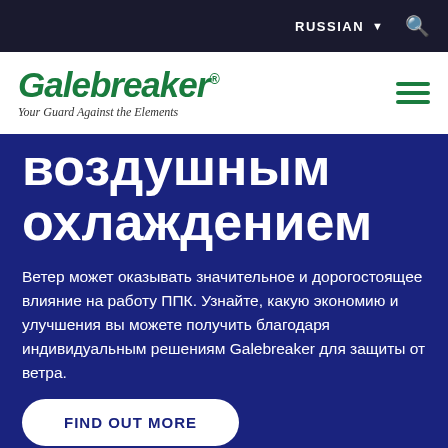RUSSIAN ▼ 🔍
[Figure (logo): Galebreaker logo with tagline 'Your Guard Against the Elements']
воздушным охлаждением
Ветер может оказывать значительное и дорогостоящее влияние на работу ППК. Узнайте, какую экономию и улучшения вы можете получить благодаря индивидуальным решениям Galebreaker для защиты от ветра.
FIND OUT MORE